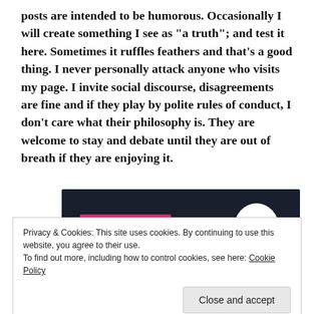posts are intended to be humorous. Occasionally I will create something I see as "a truth"; and test it here. Sometimes it ruffles feathers and that's a good thing. I never personally attack anyone who visits my page.  I invite social discourse, disagreements are fine and if they play by polite rules of conduct, I don't care what their philosophy is.  They are welcome to stay and debate until they are out of breath if they are enjoying it.
[Figure (screenshot): Dark banner with 'Start a survey' pink button on left and a circular logo with 'CROW SIGNAL' text on right]
Privacy & Cookies: This site uses cookies. By continuing to use this website, you agree to their use.
To find out more, including how to control cookies, see here: Cookie Policy
Close and accept